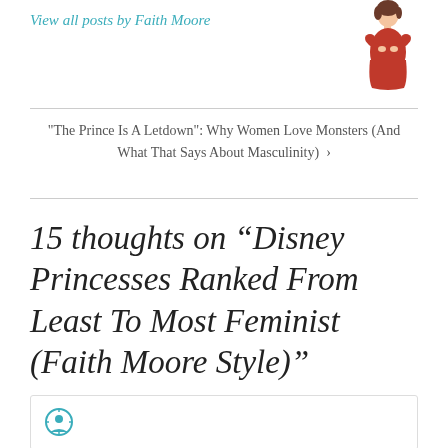View all posts by Faith Moore
[Figure (illustration): Illustrated avatar of a woman in a red dress with short brown hair, arms crossed]
"The Prince Is A Letdown": Why Women Love Monsters (And What That Says About Masculinity) >
15 thoughts on “Disney Princesses Ranked From Least To Most Feminist (Faith Moore Style)”
[Figure (illustration): Partial view of a commenter avatar icon at bottom of page]